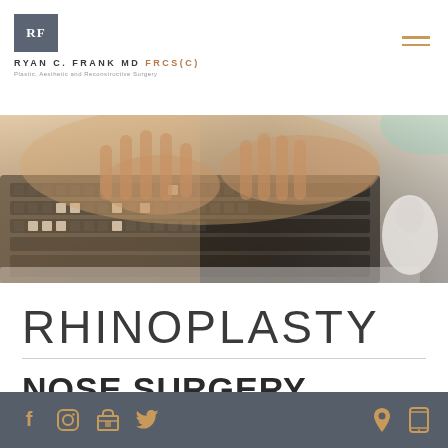RF — RYAN C. FRANK MD FRCS(C) Plastic, Aesthetic and Reconstructive Surgery
[Figure (photo): Close-up photo of hands typing on a laptop keyboard with a mouse visible to the right, warm lighting]
RHINOPLASTY
NOSE SURGERY
Social icons: Facebook, Instagram, Google, Twitter, Location pin, Mobile phone